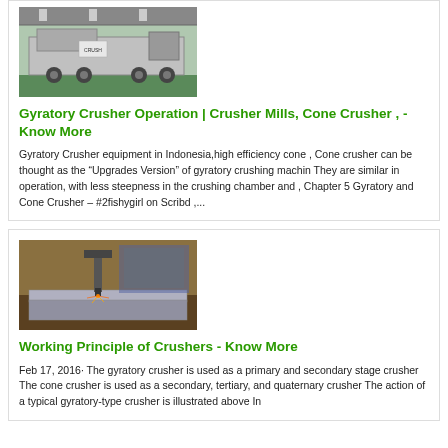[Figure (photo): A large industrial crusher or mining machine on a truck in a factory/warehouse setting with green flooring.]
Gyratory Crusher Operation | Crusher Mills, Cone Crusher , - Know More
Gyratory Crusher equipment in Indonesia,high efficiency cone , Cone crusher can be thought as the “Upgrades Version” of gyratory crushing machin They are similar in operation, with less steepness in the crushing chamber and , Chapter 5 Gyratory and Cone Crusher – #2fishygirl on Scribd ,...
[Figure (photo): An industrial cutting or welding machine operating on metal plates in a workshop, showing sparks or a cutting head.]
Working Principle of Crushers - Know More
Feb 17, 2016· The gyratory crusher is used as a primary and secondary stage crusher The cone crusher is used as a secondary, tertiary, and quaternary crusher The action of a typical gyratory-type crusher is illustrated above In